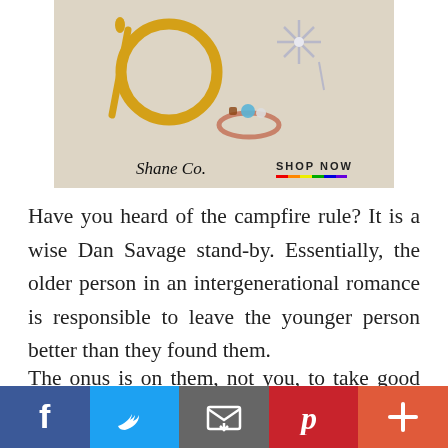[Figure (photo): Shane Co. jewelry advertisement showing gold hoop earrings, star stud earrings, and a rose gold ring with blue and white stones. Features Shane Co. logo and SHOP NOW button with rainbow underline.]
Have you heard of the campfire rule? It is a wise Dan Savage stand-by. Essentially, the older person in an intergenerational romance is responsible to leave the younger person better than they found them.
The onus is on them, not you, to take good care.
[Figure (infographic): Social sharing bar with Facebook, Twitter, Email, Pinterest, and More (+) buttons]